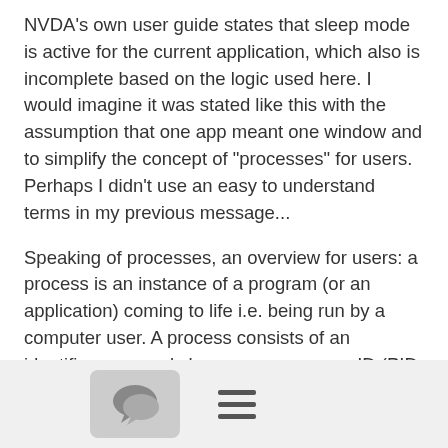NVDA's own user guide states that sleep mode is active for the current application, which also is incomplete based on the logic used here. I would imagine it was stated like this with the assumption that one app meant one window and to simplify the concept of "processes" for users. Perhaps I didn't use an easy to understand terms in my previous message...
Speaking of processes, an overview for users: a process is an instance of a program (or an application) coming to life i.e. being run by a computer user. A process consists of an identifier commonly known as a process ID (PID for short), the actual code and data of the program itself, a collection of metadata about the program such as resources used by the program, and at least one thread (or thread of execution) responsible for running the program code. When you run a program, the operating system (in this case, Windows) will load the program into memory, create PID and other metadata, and create a thread to run the program code (at least these are the minimum steps to starting a program; it is more complicated than this but at least I hope you understand the idea).
[Figure (other): Footer bar with a chat icon button (speech bubble icon in a rounded rectangle) and a hamburger menu icon (three horizontal lines)]